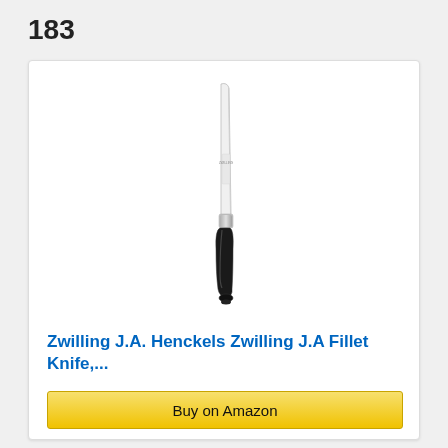183
[Figure (photo): A Zwilling J.A. Henckels fillet knife with a white/silver blade and black handle, photographed vertically on a white background.]
Zwilling J.A. Henckels Zwilling J.A Fillet Knife,...
★★★★½ (254)  ✓Prime
Buy on Amazon